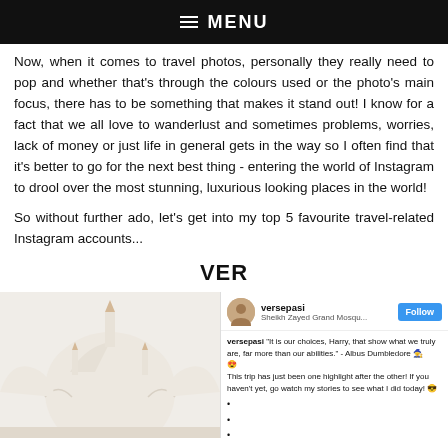≡ MENU
Now, when it comes to travel photos, personally they really need to pop and whether that's through the colours used or the photo's main focus, there has to be something that makes it stand out! I know for a fact that we all love to wanderlust and sometimes problems, worries, lack of money or just life in general gets in the way so I often find that it's better to go for the next best thing - entering the world of Instagram to drool over the most stunning, luxurious looking places in the world!
So without further ado, let's get into my top 5 favourite travel-related Instagram accounts...
VER
[Figure (photo): Photo of Sheikh Zayed Grand Mosque dome and minarets, white marble architecture against light background]
[Figure (screenshot): Instagram post screenshot showing user versepasi at Sheikh Zayed Grand Mosque with caption quoting Albus Dumbledore and mentioning trip highlights with a Follow button]